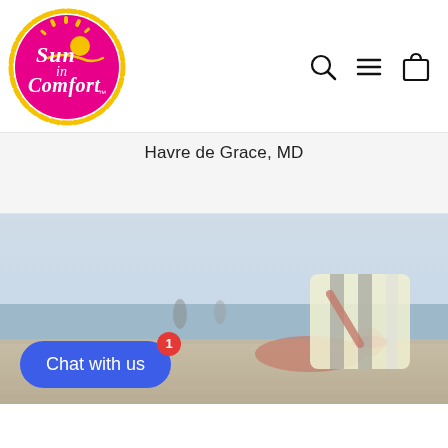[Figure (logo): Sun in Comfort logo — circular badge with pink background, yellow sun graphic, white script text reading 'Sun in Comfort' with yellow brushstroke border]
[Figure (other): Navigation icons: search (magnifying glass), hamburger menu (three horizontal lines), and shopping bag outline]
Havre de Grace, MD
[Figure (photo): Beach scene showing a woman relaxing in a beach chair holding a striped umbrella or beach chair back, with ocean and sky in background]
Chat with us